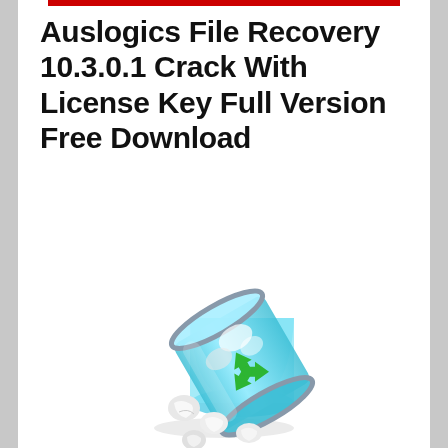Auslogics File Recovery 10.3.0.1 Crack With License Key Full Version Free Download
[Figure (illustration): A tilted transparent blue recycle bin with a green recycling symbol on its side, spilling crumpled white paper balls out of the open top and onto the ground below.]